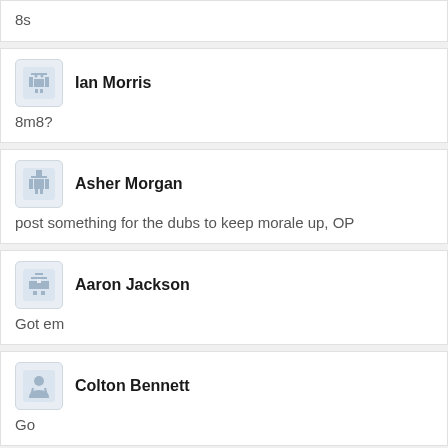8s
Ian Morris
8m8?
Asher Morgan
post something for the dubs to keep morale up, OP
Aaron Jackson
Got em
Colton Bennett
Go